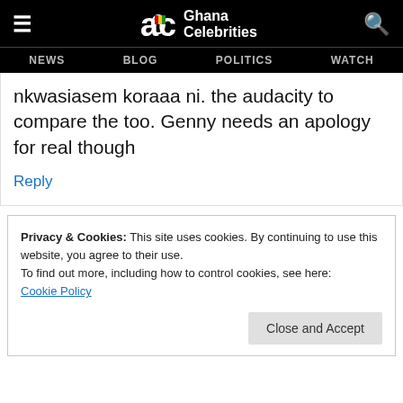Ghana Celebrities — NEWS | BLOG | POLITICS | WATCH
nkwasiasem koraaa ni. the audacity to compare the too. Genny needs an apology for real though
Reply
Privacy & Cookies: This site uses cookies. By continuing to use this website, you agree to their use.
To find out more, including how to control cookies, see here: Cookie Policy
Close and Accept